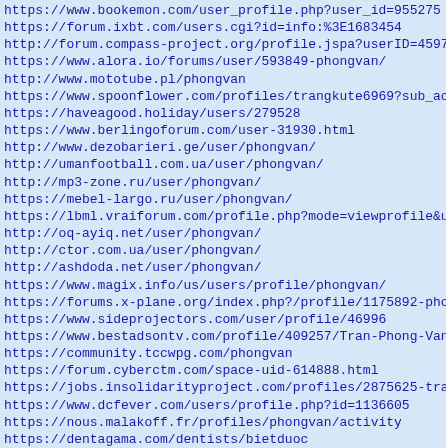https://www.bookemon.com/user_profile.php?user_id=955275
https://forum.ixbt.com/users.cgi?id=info:%3E1683454
http://forum.compass-project.org/profile.jspa?userID=45972
https://www.alora.io/forums/user/593849-phongvan/
http://www.mototube.pl/phongvan
https://www.spoonflower.com/profiles/trangkute6969?sub_acti
https://haveagood.holiday/users/279528
https://www.berlingoforum.com/user-31930.html
http://www.dezobarieri.ge/user/phongvan/
http://umanfootball.com.ua/user/phongvan/
http://mp3-zone.ru/user/phongvan/
https://mebel-largo.ru/user/phongvan/
https://lbml.vraiforum.com/profile.php?mode=viewprofile&u=p
http://oq-ayiq.net/user/phongvan/
http://ctor.com.ua/user/phongvan/
http://ashdoda.net/user/phongvan/
https://www.magix.info/us/users/profile/phongvan/
https://forums.x-plane.org/index.php?/profile/1175892-phong
https://www.sideprojectors.com/user/profile/46996
https://www.bestadsontv.com/profile/409257/Tran-Phong-Van
https://community.tccwpg.com/phongvan
https://forum.cyberctm.com/space-uid-614888.html
https://jobs.insolidarityproject.com/profiles/2875625-tran-
https://www.dcfever.com/users/profile.php?id=1136605
https://nous.malakoff.fr/profiles/phongvan/activity
https://dentagama.com/dentists/bietduoc
https://www.asmetalwork.com.ua/forum/user/profile/69319.pag
https://participation.bordeaux.fr/profiles/phongvan/activit
http://mojamafia.grrr.pl/NoonFactor/member/phongvan
https://www.tabletennisdaily.com/forum/member.php?109319-ph